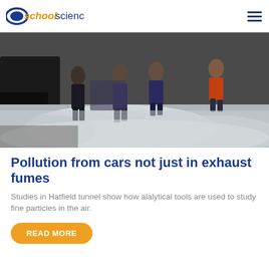schoolscience
[Figure (photo): Blurred street-level photo showing people walking in an urban environment with exhaust fumes/smoke visible near the ground]
Pollution from cars not just in exhaust fumes
Studies in Hatfield tunnel show how alalytical tools are used to study fine particles in the air.
READ MORE